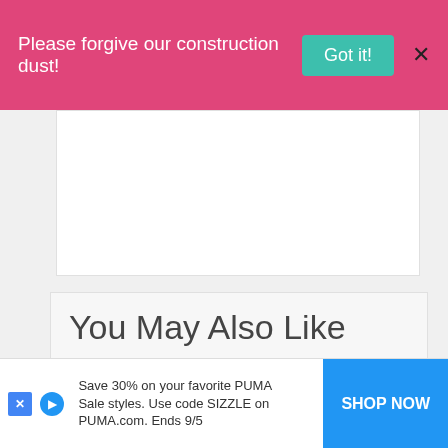Please forgive our construction dust! Got it! X
[Figure (other): White panel / advertisement area]
You May Also Like
[Figure (photo): Close-up photo of fresh green leafy Swiss chard / summer greens]
Making Healthy Smoothies With Your Fresh Summer Greens (at Simple Organic)
Save 30% on your favorite PUMA Sale styles. Use code SIZZLE on PUMA.com. Ends 9/5   SHOP NOW